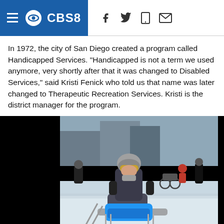CBS8
In 1972, the city of San Diego created a program called Handicapped Services. "Handicapped is not a term we used anymore, very shortly after that it was changed to Disabled Services," said Kristi Fenick who told us that name was later changed to Therapeutic Recreation Services. Kristi is the district manager for the program.
[Figure (photo): A person wearing a helmet and ski goggles sits in a sit-ski (adaptive ski sled) on snow, with bright blue outerwear on their legs. Other people and a wheelchair are visible in the background near a ski lodge.]